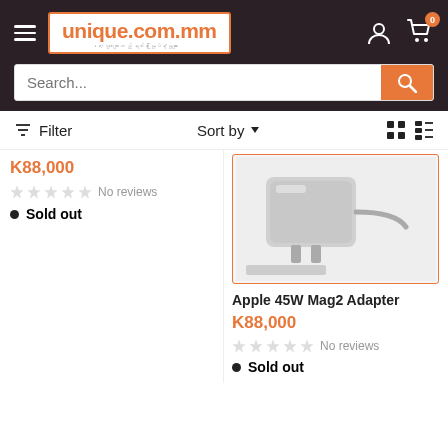unique.com.mm — e-commerce site header with logo, search bar, user icon, cart (0)
Filter   Sort by   (grid/list view icons)
K88,000 — No reviews — Sold out (left column, partial)
[Figure (photo): Product image of Apple 45W Mag2 Adapter with orange border]
Apple 45W Mag2 Adapter
K88,000
No reviews
Sold out